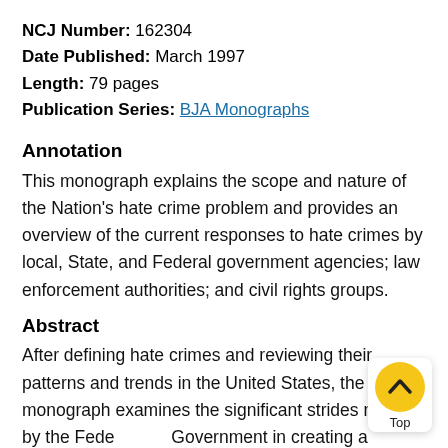NCJ Number: 162304
Date Published: March 1997
Length: 79 pages
Publication Series: BJA Monographs
Annotation
This monograph explains the scope and nature of the Nation's hate crime problem and provides an overview of the current responses to hate crimes by local, State, and Federal government agencies; law enforcement authorities; and civil rights groups.
Abstract
After defining hate crimes and reviewing their patterns and trends in the United States, the monograph examines the significant strides made by the Federal Government in creating a baseline of raw data on crimes and the problems that impede the reporting